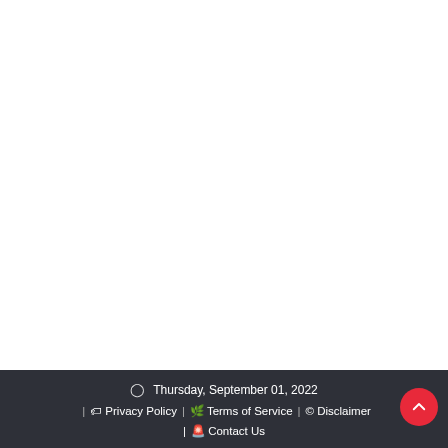🕐 Thursday, September 01, 2022 | 🏷 Privacy Policy | 🌿 Terms of Service | © Disclaimer | 🚨 Contact Us